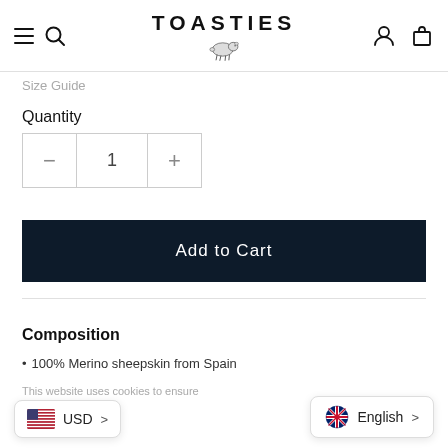TOASTIES
Size Guide
Quantity
1
Add to Cart
Composition
100% Merino sheepskin from Spain
This website uses cookies to ensure
USD >
English >